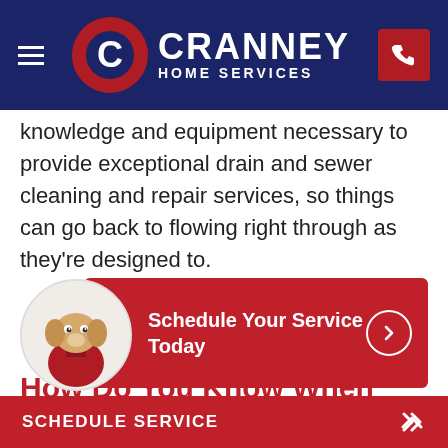[Figure (logo): Cranney Home Services logo with blue background, circular C logo, white text CRANNEY HOME SERVICES, hamburger menu icon, and red phone button]
knowledge and equipment necessary to provide exceptional drain and sewer cleaning and repair services, so things can go back to flowing right through as they're designed to.
[Figure (infographic): Red call-to-action button with dog mascot in a circle on the left, text 'Schedule Your Service Today' in white bold, and a right arrow circle button on the right]
How Do You Know When Your Pipes
SCHEDULE SERVICE